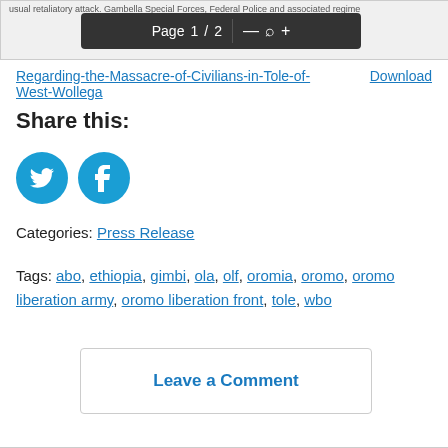[Figure (screenshot): PDF viewer toolbar showing 'Page 1 / 2' with zoom controls, on a grey background with partial document text visible above reading '...usual retaliatory attack. Gambella Special Forces, Federal Police and associated regime']
Regarding-the-Massacre-of-Civilians-in-Tole-of-West-Wollega    Download
Share this:
[Figure (illustration): Two circular social media share buttons: Twitter (blue bird icon) and Facebook (blue 'f' icon)]
Categories: Press Release
Tags: abo, ethiopia, gimbi, ola, olf, oromia, oromo, oromo liberation army, oromo liberation front, tole, wbo
Leave a Comment